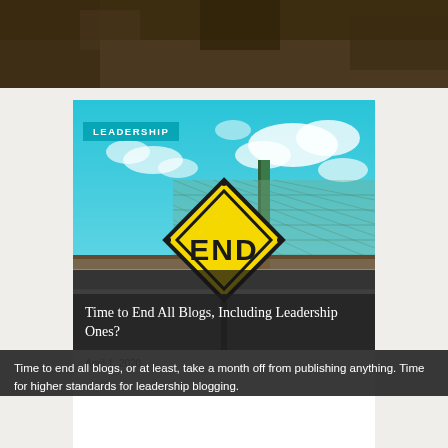[Figure (photo): Top strip of a photo showing dark brownish/foliage background, partially cropped]
[Figure (photo): Photo of a yellow diamond-shaped END road sign against a bright blue cloudy sky, with a chain-link fence in the background. A teal/cyan 'LEADERSHIP' badge overlays the top-left. The lower portion of the image is overlaid with a dark semi-transparent bar containing the article title.]
LEADERSHIP
Time to End All Blogs, Including Leadership Ones?
April 1, 2020
Time to end all blogs, or at least, take a month off from publishing anything. Time for higher standards for leadership blogging.